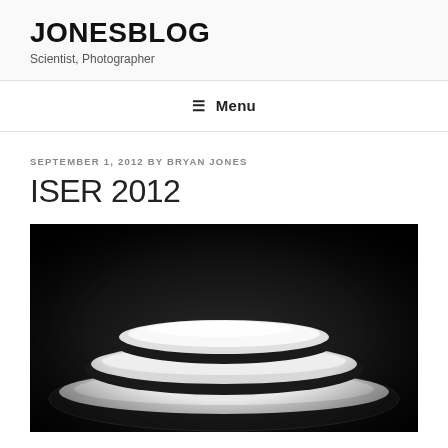JONESBLOG
Scientist, Photographer
≡ Menu
SEPTEMBER 1, 2012 BY BRYAN JONES
ISER 2012
[Figure (photo): Black and white photograph of stacked white plates on a dark background, artistically lit to show concentric oval shapes]